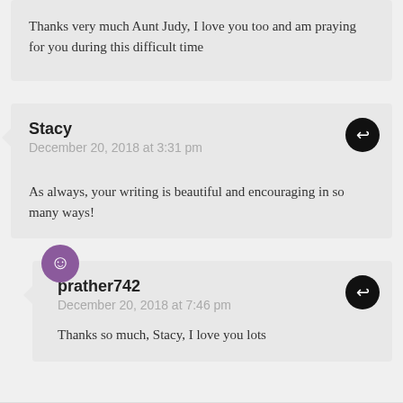Thanks very much Aunt Judy, I love you too and am praying for you during this difficult time
Stacy
December 20, 2018 at 3:31 pm

As always, your writing is beautiful and encouraging in so many ways!
prather742
December 20, 2018 at 7:46 pm

Thanks so much, Stacy, I love you lots